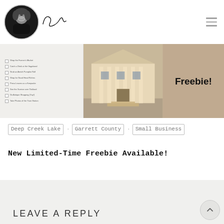[Figure (logo): Circular black and white portrait photo with a handwritten signature next to it]
[Figure (photo): Banner image showing a checklist on the left, a historic building in the center, and bold text 'Freebie!' on the right]
Deep Creek Lake . Garrett County . Small Business
New Limited-Time Freebie Available!
LEAVE A REPLY